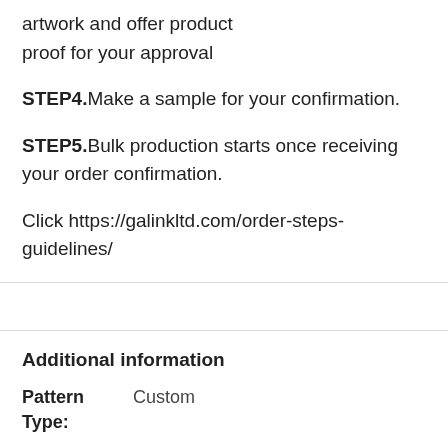artwork and offer product proof for your approval
STEP4. Make a sample for your confirmation.
STEP5. Bulk production starts once receiving your order confirmation.
Click https://galinkltd.com/order-steps-guidelines/
Additional information
Pattern Type: Custom